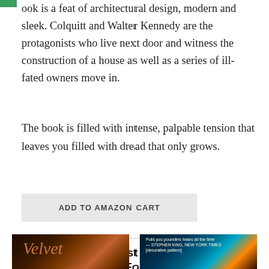ook is a feat of architectural design, modern and sleek. Colquitt and Walter Kennedy are the protagonists who live next door and witness the construction of a house as well as a series of ill-fated owners move in.
The book is filled with intense, palpable tension that leaves you filled with dread that only grows.
ADD TO AMAZON CART
A Collection Of Best Spooky Halloween Books For Adults
[Figure (photo): Book covers for spooky Halloween books: left shows 'Velvet' with dark warm tones, right shows a colorful book cover with teal and orange tones]